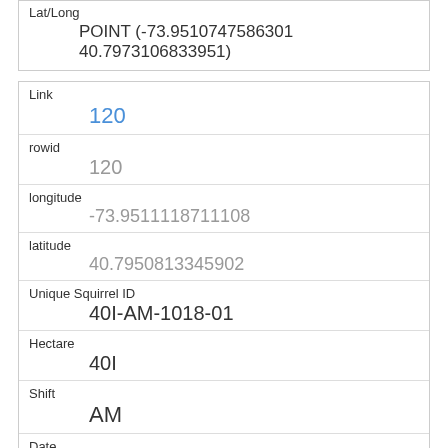| Lat/Long |
| --- |
| POINT (-73.9510747586301 40.7973106833951) |
| Link | 120 |
| rowid | 120 |
| longitude | -73.9511118711108 |
| latitude | 40.7950813345902 |
| Unique Squirrel ID | 40I-AM-1018-01 |
| Hectare | 40I |
| Shift | AM |
| Date | 10182018 |
| Hectare Squirrel Number | 1 |